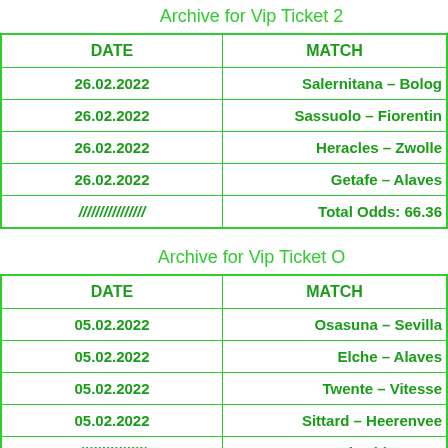Archive for Vip Ticket 2
| DATE | MATCH |
| --- | --- |
| 26.02.2022 | Salernitana – Bolog… |
| 26.02.2022 | Sassuolo – Fiorentin… |
| 26.02.2022 | Heracles – Zwolle… |
| 26.02.2022 | Getafe – Alaves |
| //////////////// | Total Odds: 66.36 |
Archive for Vip Ticket O…
| DATE | MATCH |
| --- | --- |
| 05.02.2022 | Osasuna – Sevilla… |
| 05.02.2022 | Elche – Alaves |
| 05.02.2022 | Twente – Vitesse |
| 05.02.2022 | Sittard – Heerenvee… |
| //////////////// | Total Odds: 54.43 |